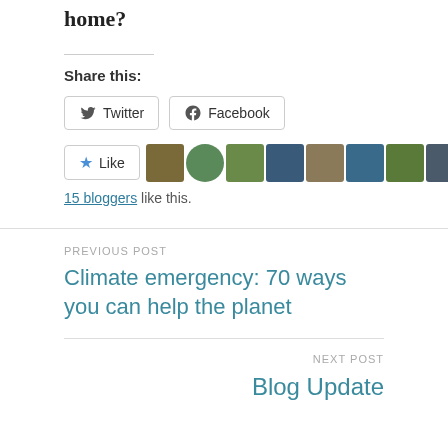home?
Share this:
Twitter  Facebook
Like  [blogger avatars]  15 bloggers like this.
PREVIOUS POST
Climate emergency: 70 ways you can help the planet
NEXT POST
Blog Update